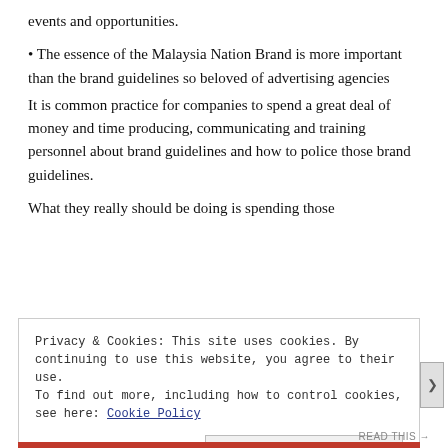events and opportunities.
• The essence of the Malaysia Nation Brand is more important than the brand guidelines so beloved of advertising agencies
It is common practice for companies to spend a great deal of money and time producing, communicating and training personnel about brand guidelines and how to police those brand guidelines.
What they really should be doing is spending those
Privacy & Cookies: This site uses cookies. By continuing to use this website, you agree to their use.
To find out more, including how to control cookies, see here: Cookie Policy
Close and accept